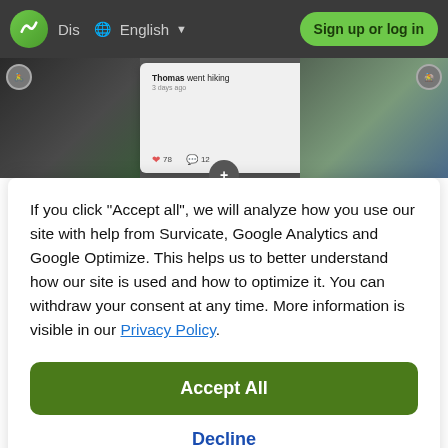[Figure (screenshot): Top navigation bar of a fitness/outdoor activity website with logo, Dis text, globe icon, English language selector, and Sign up or log in button]
[Figure (screenshot): Hero image band showing outdoor activity photos (cycling, social post card with Thomas went hiking 3 days ago with 78 likes and 12 comments, cyclists)]
If you click "Accept all", we will analyze how you use our site with help from Survicate, Google Analytics and Google Optimize. This helps us to better understand how our site is used and how to optimize it. You can withdraw your consent at any time. More information is visible in our Privacy Policy.
Accept All
Decline
Details